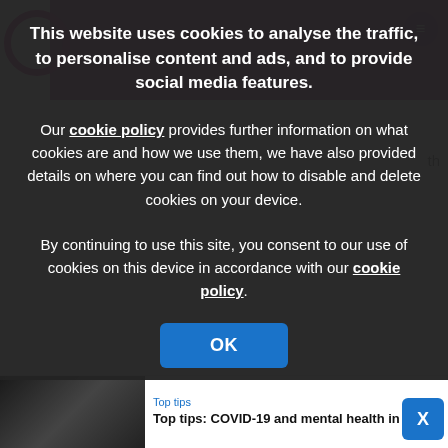[Figure (screenshot): Website cookie consent modal overlay on a news website. Dark semi-transparent overlay with white text cookie notice, OK button, and visible website content in background including purple header bar, article thumbnails, and bottom article strip.]
This website uses cookies to analyse the traffic, to personalise content and ads, and to provide social media features.
Our cookie policy provides further information on what cookies are and how we use them, we have also provided details on where you can find out how to disable and delete cookies on your device.
By continuing to use this site, you consent to our use of cookies on this device in accordance with our cookie policy.
OK
Top tips
Top tips: COVID-19 and mental health in